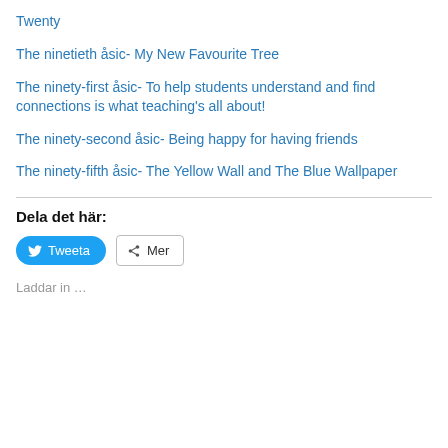Twenty
The ninetieth åsic- My New Favourite Tree
The ninety-first åsic- To help students understand and find connections is what teaching's all about!
The ninety-second åsic- Being happy for having friends
The ninety-fifth åsic- The Yellow Wall and The Blue Wallpaper
Dela det här:
Tweeta   Mer
Laddar in …